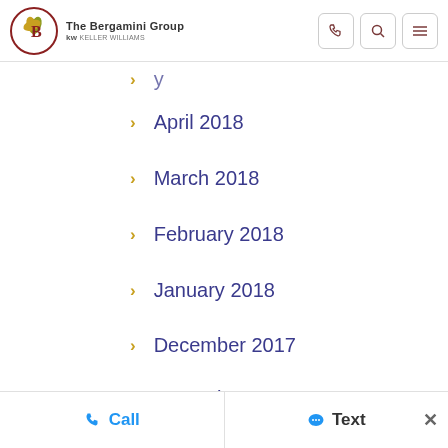The Bergamini Group kw
April 2018
March 2018
February 2018
January 2018
December 2017
November 2017
October 2017
Call   Text